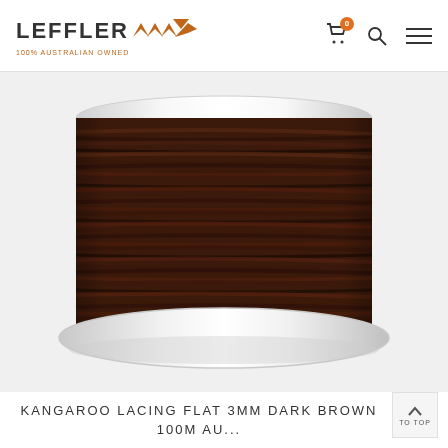[Figure (logo): Leffler logo with boomerang-style icon and text '100% AUSTRALIAN OWNED']
[Figure (photo): A large spool/reel of dark brown flat kangaroo leather lacing (3mm width), wound tightly on a white plastic spool, photographed on a white background.]
KANGAROO LACING FLAT 3MM DARK BROWN 100M AU...